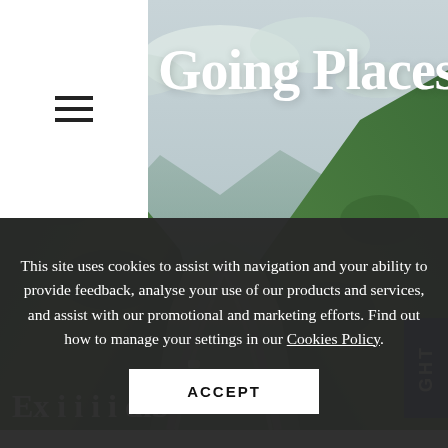[Figure (photo): Mountain pass landscape with lush green hills, a winding road, and cloudy sky in the background]
Going Places
This site uses cookies to assist with navigation and your ability to provide feedback, analyse your use of our products and services, and assist with our promotional and marketing efforts. Find out how to manage your settings in our Cookies Policy.
ACCEPT